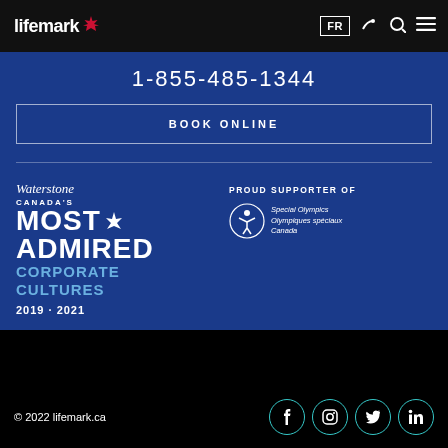[Figure (logo): Lifemark logo with maple leaf on black navigation bar with FR, phone, search, and menu icons]
1-855-485-1344
BOOK ONLINE
[Figure (logo): Waterstone Canada's Most Admired Corporate Cultures 2019 · 2021 award logo]
[Figure (logo): Proud Supporter of Special Olympics / Olympiques spéciaux Canada logo]
© 2022 lifemark.ca